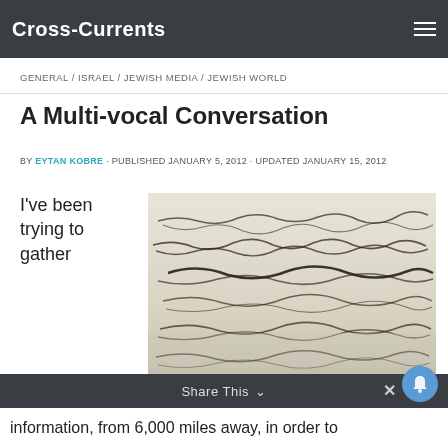Cross-Currents
GENERAL / ISRAEL / JEWISH MEDIA / JEWISH WORLD
A Multi-vocal Conversation
BY EYTAN KOBRE · PUBLISHED JANUARY 5, 2012 · UPDATED JANUARY 15, 2012
I've been trying to gather
[Figure (photo): Close-up photograph of handwritten cursive script on aged paper]
Share This
information, from 6,000 miles away, in order to